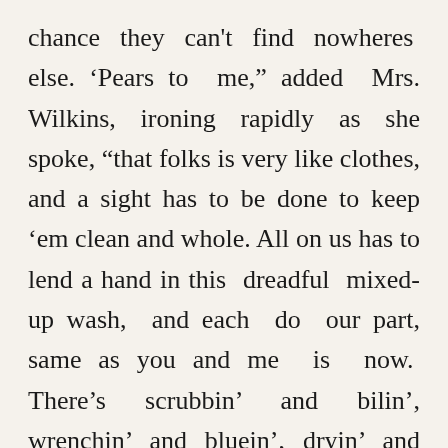chance they can't find nowheres else. 'Pears to me," added Mrs. Wilkins, ironing rapidly as she spoke, "that folks is very like clothes, and a sight has to be done to keep 'em clean and whole. All on us has to lend a hand in this dreadful mixed-up wash, and each do our part, same as you and me is now. There's scrubbin' and bilin', wrenchin' and bluein', dryin' and foldin', ironin' and polishin', before